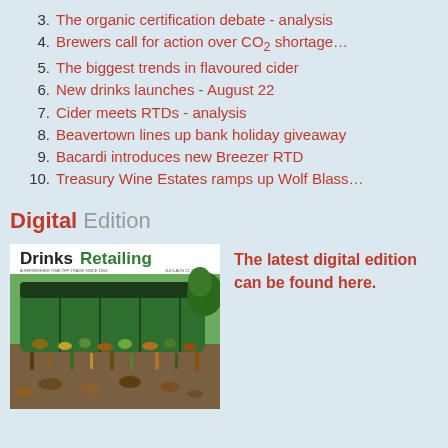3. The organic certification debate - analysis
4. Brewers call for action over CO2 shortage…
5. The biggest trends in flavoured cider
6. New drinks launches - August 22
7. Cider meets RTDs - analysis
8. Beavertown lines up bank holiday giveaway
9. Bacardi introduces new Breezer RTD
10. Treasury Wine Estates ramps up Wolf Blass…
Digital Edition
[Figure (photo): Magazine cover of Drinks Retailing with image of a green truck loaded with empty bottles and cans]
The latest digital edition can be found here.